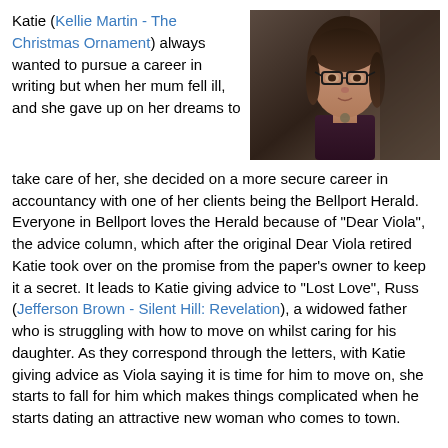Katie (Kellie Martin - The Christmas Ornament) always wanted to pursue a career in writing but when her mum fell ill, and she gave up on her dreams to take care of her, she decided on a more secure career in accountancy with one of her clients being the Bellport Herald. Everyone in Bellport loves the Herald because of "Dear Viola", the advice column, which after the original Dear Viola retired Katie took over on the promise from the paper's owner to keep it a secret. It leads to Katie giving advice to "Lost Love", Russ (Jefferson Brown - Silent Hill: Revelation), a widowed father who is struggling with how to move on whilst caring for his daughter. As they correspond through the letters, with Katie giving advice as Viola saying it is time for him to move on, she starts to fall for him which makes things complicated when he starts dating an attractive new woman who comes to town.
[Figure (photo): Photo of a woman with dark hair wearing glasses and a dark purple top with a pendant necklace, looking slightly to the side]
When you watch a lot of movies you go through that barrier and you no longer get as frustrated by unoriginal movies or those which are cheesy as you might once have done, but